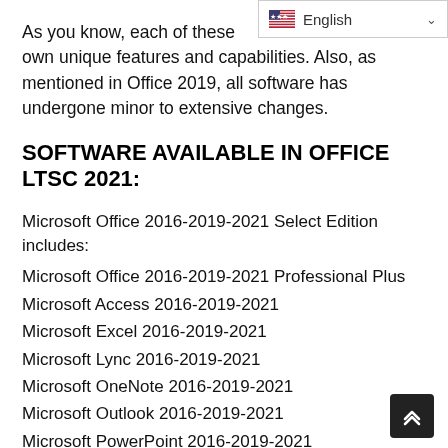As you know, each of these [apps] has its own unique features and capabilities. Also, as mentioned in Office 2019, all software has undergone minor to extensive changes.
SOFTWARE AVAILABLE IN OFFICE LTSC 2021:
Microsoft Office 2016-2019-2021 Select Edition includes:
Microsoft Office 2016-2019-2021 Professional Plus
Microsoft Access 2016-2019-2021
Microsoft Excel 2016-2019-2021
Microsoft Lync 2016-2019-2021
Microsoft OneNote 2016-2019-2021
Microsoft Outlook 2016-2019-2021
Microsoft PowerPoint 2016-2019-2021
Microsoft Publisher 2016-2019-2021